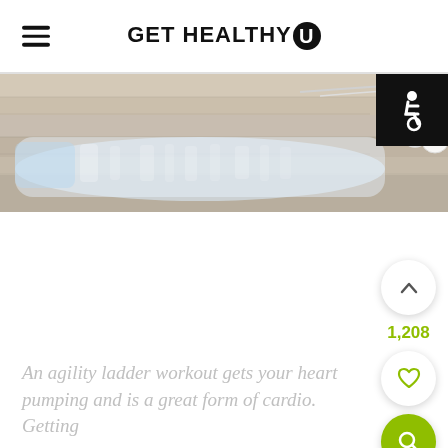GET HEALTHY U
[Figure (photo): Photo strip showing a water bottle and earbuds on a wooden surface, with an accessibility (wheelchair) badge in the top-right corner]
1,208
An agility ladder workout gets your heart pumping and is a great form of cardio. Getting